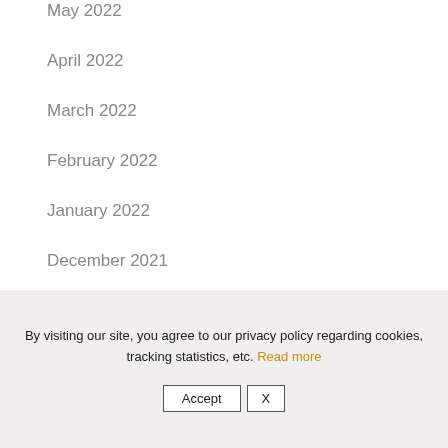May 2022
April 2022
March 2022
February 2022
January 2022
December 2021
November 2021
October 2021
By visiting our site, you agree to our privacy policy regarding cookies, tracking statistics, etc. Read more
Accept  X